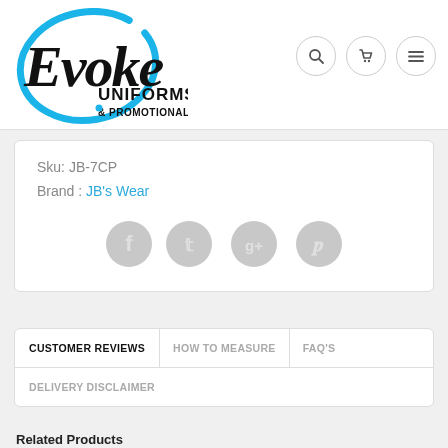[Figure (logo): Evoke Uniforms & Promotional logo — stylized script 'Evoke' in black with blue brush-stroke circle, 'UNIFORMS & PROMOTIONAL' in bold black caps below]
Sku: JB-7CP
Brand : JB's Wear
[Figure (illustration): Four circular grey social media icons: Facebook, Twitter, Google+, Pinterest]
CUSTOMER REVIEWS
HOW TO MEASURE
FAQ'S
DELIVERY DISCLAIMER
Related Products